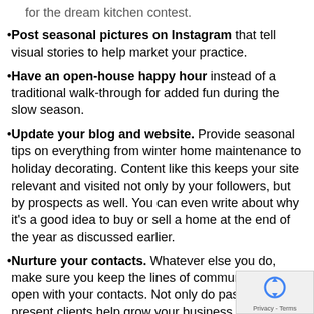Post seasonal pictures on Instagram that tell visual stories to help market your practice.
Have an open-house happy hour instead of a traditional walk-through for added fun during the slow season.
Update your blog and website. Provide seasonal tips on everything from winter home maintenance to holiday decorating. Content like this keeps your site relevant and visited not only by your followers, but by prospects as well. You can even write about why it’s a good idea to buy or sell a home at the end of the year as discussed earlier.
Nurture your contacts. Whatever else you do, make sure you keep the lines of communication open with your contacts. Not only do past and present clients help grow your business, but prospects may be gearing up to buy or sell in the New Year and you want to be foremost in their minds when they do so. And, make sure while you’re making yourself visible that you do follow up with...